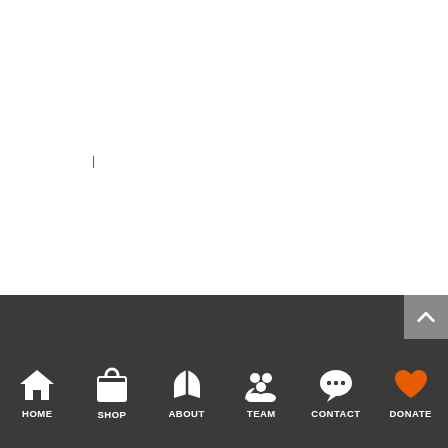[Figure (screenshot): Website navigation bar UI with a white content area above and a dark gray footer with navigation icons: HOME (house icon), SHOP (shopping bag icon), ABOUT (map/book icon), TEAM (people icon), CONTACT (speech bubble icon), DONATE (heart icon in orange). A scroll-to-top button (chevron up) appears at top-right of the dark area.]